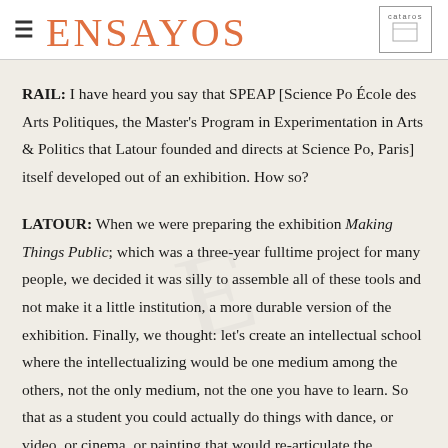ENSAYOS
RAIL: I have heard you say that SPEAP [Science Po École des Arts Politiques, the Master's Program in Experimentation in Arts & Politics that Latour founded and directs at Science Po, Paris] itself developed out of an exhibition. How so?
LATOUR: When we were preparing the exhibition Making Things Public; which was a three-year fulltime project for many people, we decided it was silly to assemble all of these tools and not make it a little institution, a more durable version of the exhibition. Finally, we thought: let's create an intellectual school where the intellectualizing would be one medium among the others, not the only medium, not the one you have to learn. So that as a student you could actually do things with dance, or video, or cinema, or painting that would re-articulate the agenda that we were dealing with in the exhibition, which was the